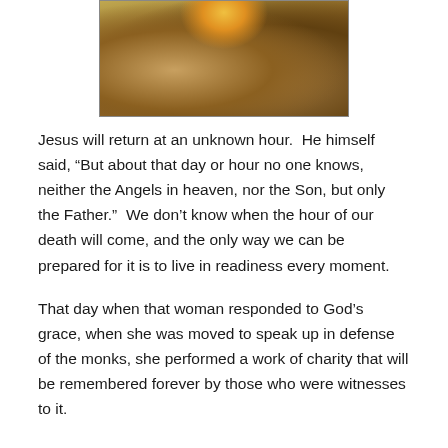[Figure (illustration): A Renaissance-style fresco or painting depicting a religious scene, likely the Last Judgment, with figures including Christ at center top with a golden halo, surrounded by angels and people on either side.]
Jesus will return at an unknown hour.  He himself said, “But about that day or hour no one knows, neither the Angels in heaven, nor the Son, but only the Father.”  We don’t know when the hour of our death will come, and the only way we can be prepared for it is to live in readiness every moment.
That day when that woman responded to God’s grace, when she was moved to speak up in defense of the monks, she performed a work of charity that will be remembered forever by those who were witnesses to it.